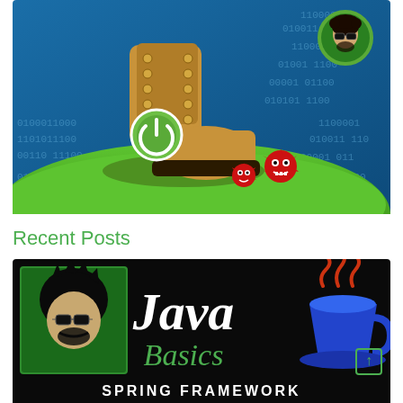[Figure (illustration): Spring Boot promotional illustration: a large tan combat boot with a green Spring power button logo stomping on a green grassy hill, with cartoon red virus/bug monsters fleeing. Binary code background in blue. A small circular avatar of a man with sunglasses and curly hair in the top right corner.]
Recent Posts
[Figure (illustration): Java Basics course thumbnail: black background with a man's face illustration on the left inside a green square frame, large white handwritten 'Java' text in center, green 'Basics' text below it, red and blue Java steam cup logo on the right. Bottom text reads 'SPRING FRAMEWORK'.]